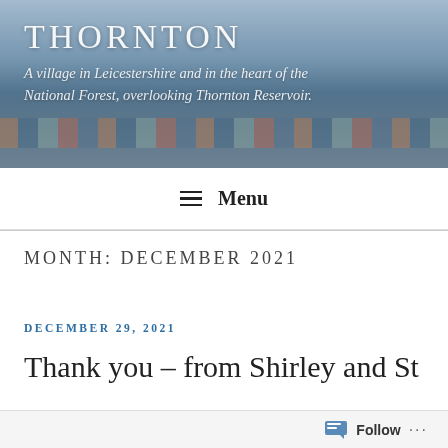[Figure (photo): Header banner showing Thornton Reservoir with boats moored at a dock, trees and sky in background. Overlaid with site title and tagline text.]
THORNTON
A village in Leicestershire and in the heart of the National Forest, overlooking Thornton Reservoir.
≡ Menu
MONTH: DECEMBER 2021
DECEMBER 29, 2021
Thank you – from Shirley and St
Follow ···